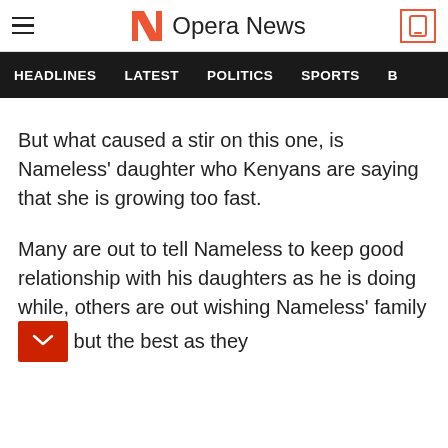Opera News
HEADLINES  LATEST  POLITICS  SPORTS
But what caused a stir on this one, is Nameless' daughter who Kenyans are saying that she is growing too fast.
Many are out to tell Nameless to keep good relationship with his daughters as he is doing while, others are out wishing Nameless' family [button] but the best as they